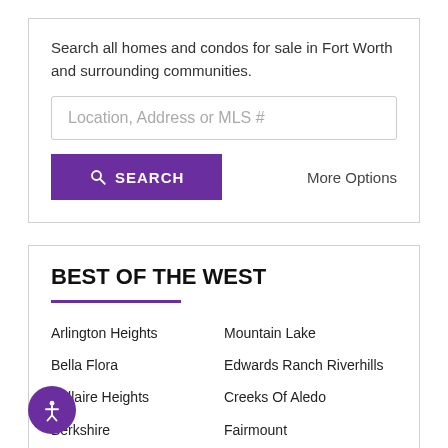Search all homes and condos for sale in Fort Worth and surrounding communities.
[Figure (screenshot): Search input box with placeholder text 'Location, Address or MLS #']
[Figure (screenshot): Purple SEARCH button with magnifying glass icon, and 'More Options' text link]
BEST OF THE WEST
Arlington Heights
Bella Flora
Bellaire Heights
Berkshire
Mountain Lake
Edwards Ranch Riverhills
Creeks Of Aledo
Fairmount